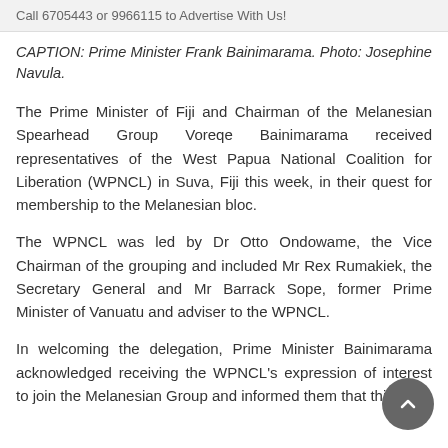Call 6705443 or 9966115 to Advertise With Us!
CAPTION: Prime Minister Frank Bainimarama. Photo: Josephine Navula.
The Prime Minister of Fiji and Chairman of the Melanesian Spearhead Group Voreqe Bainimarama received representatives of the West Papua National Coalition for Liberation (WPNCL) in Suva, Fiji this week, in their quest for membership to the Melanesian bloc.
The WPNCL was led by Dr Otto Ondowame, the Vice Chairman of the grouping and included Mr Rex Rumakiek, the Secretary General and Mr Barrack Sope, former Prime Minister of Vanuatu and adviser to the WPNCL.
In welcoming the delegation, Prime Minister Bainimarama acknowledged receiving the WPNCL's expression of interest to join the Melanesian Group and informed them that this is a